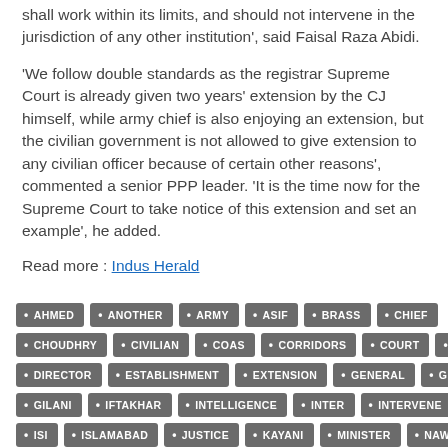shall work within its limits, and should not intervene in the jurisdiction of any other institution', said Faisal Raza Abidi.
'We follow double standards as the registrar Supreme Court is already given two years' extension by the CJ himself, while army chief is also enjoying an extension, but the civilian government is not allowed to give extension to any civilian officer because of certain other reasons', commented a senior PPP leader. 'It is the time now for the Supreme Court to take notice of this extension and set an example', he added.
Read more : Indus Herald
AHMED
ANOTHER
ARMY
ASIF
BRASS
CHIEF
CHOUDHRY
CIVILIAN
COAS
CORRIDORS
COURT
DG
DIRECTOR
ESTABLISHMENT
EXTENSION
GENERAL
GHQ
GILANI
IFTAKHAR
INTELLIGENCE
INTER
INTERVENE
ISI
ISLAMABAD
JUSTICE
KAYANI
MINISTER
NAWAZ